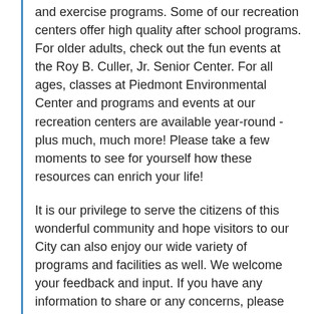and exercise programs. Some of our recreation centers offer high quality after school programs. For older adults, check out the fun events at the Roy B. Culler, Jr. Senior Center. For all ages, classes at Piedmont Environmental Center and programs and events at our recreation centers are available year-round - plus much, much more! Please take a few moments to see for yourself how these resources can enrich your life!
It is our privilege to serve the citizens of this wonderful community and hope visitors to our City can also enjoy our wide variety of programs and facilities as well. We welcome your feedback and input. If you have any information to share or any concerns, please feel free to contact me.
Please explore the many opportunities we proudly offer you to "Play, Learn and Enjoy"!